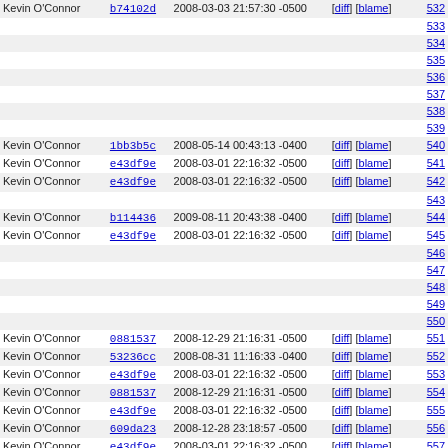| Author | Commit | Date | Links | Line |
| --- | --- | --- | --- | --- |
| Kevin O'Connor | b74102d | 2008-03-03 21:57:30 -0500 | [diff] [blame] | 532 |
|  |  |  |  | 533 |
|  |  |  |  | 534 |
|  |  |  |  | 535 |
|  |  |  |  | 536 |
|  |  |  |  | 537 |
|  |  |  |  | 538 |
|  |  |  |  | 539 |
| Kevin O'Connor | 1bb3b5c | 2008-05-14 00:43:13 -0400 | [diff] [blame] | 540 |
| Kevin O'Connor | e43df9e | 2008-03-01 22:16:32 -0500 | [diff] [blame] | 541 |
| Kevin O'Connor | e43df9e | 2008-03-01 22:16:32 -0500 | [diff] [blame] | 542 |
|  |  |  |  | 543 |
| Kevin O'Connor | b114436 | 2009-08-11 20:43:38 -0400 | [diff] [blame] | 544 |
| Kevin O'Connor | e43df9e | 2008-03-01 22:16:32 -0500 | [diff] [blame] | 545 |
|  |  |  |  | 546 |
|  |  |  |  | 547 |
|  |  |  |  | 548 |
|  |  |  |  | 549 |
|  |  |  |  | 550 |
| Kevin O'Connor | 0881537 | 2008-12-29 21:16:31 -0500 | [diff] [blame] | 551 |
| Kevin O'Connor | 53236cc | 2008-08-31 11:16:33 -0400 | [diff] [blame] | 552 |
| Kevin O'Connor | e43df9e | 2008-03-01 22:16:32 -0500 | [diff] [blame] | 553 |
| Kevin O'Connor | 0881537 | 2008-12-29 21:16:31 -0500 | [diff] [blame] | 554 |
| Kevin O'Connor | e43df9e | 2008-03-01 22:16:32 -0500 | [diff] [blame] | 555 |
| Kevin O'Connor | 609da23 | 2008-12-28 23:18:57 -0500 | [diff] [blame] | 556 |
| Kevin O'Connor | e43df9e | 2008-03-01 22:16:32 -0500 | [diff] [blame] | 557 |
|  |  |  |  | 558 |